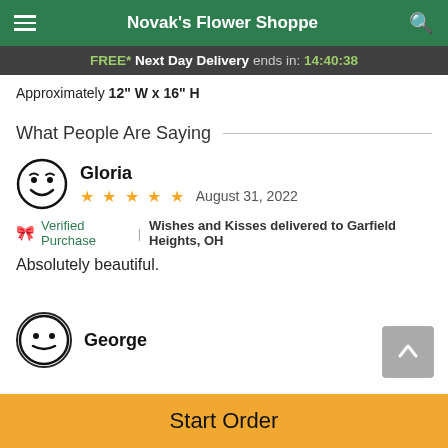Novak's Flower Shoppe
FREE* Next Day Delivery ends in: 14:40:38
Approximately 12" W x 16" H
What People Are Saying
Gloria
★★★★★  August 31, 2022
🎀 Verified Purchase | Wishes and Kisses delivered to Garfield Heights, OH
Absolutely beautiful.
George